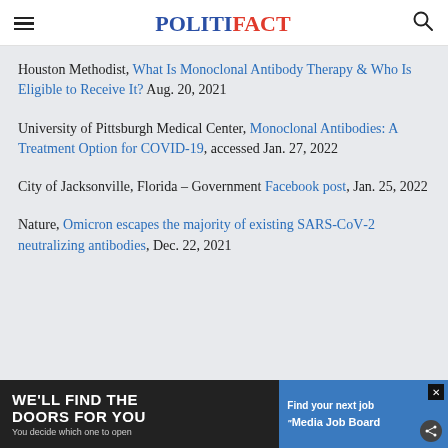POLITIFACT
Houston Methodist, What Is Monoclonal Antibody Therapy & Who Is Eligible to Receive It? Aug. 20, 2021
University of Pittsburgh Medical Center, Monoclonal Antibodies: A Treatment Option for COVID-19, accessed Jan. 27, 2022
City of Jacksonville, Florida – Government Facebook post, Jan. 25, 2022
Nature, Omicron escapes the majority of existing SARS-CoV-2 neutralizing antibodies, Dec. 22, 2021
[Figure (other): Advertisement banner: left side dark background with 'WE'LL FIND THE DOORS FOR YOU / You decide which one to open'; right side blue background with 'Find your next job / Media Job Board']